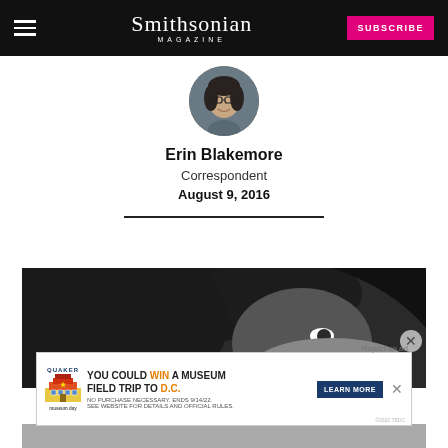Smithsonian Magazine — SUBSCRIBE
[Figure (photo): Circular profile photo of author Erin Blakemore, a woman with dark hair and glasses]
Erin Blakemore
Correspondent
August 9, 2016
[Figure (photo): Close-up black and white photo of a person with curly dark hair]
[Figure (screenshot): Advertisement banner: Quaker — You could WIN a Museum FIELD TRIP TO D.C. — LEARN MORE. No purchase necessary, ends 9/14/22, see website for details and official rules. ©2022 TBDC]